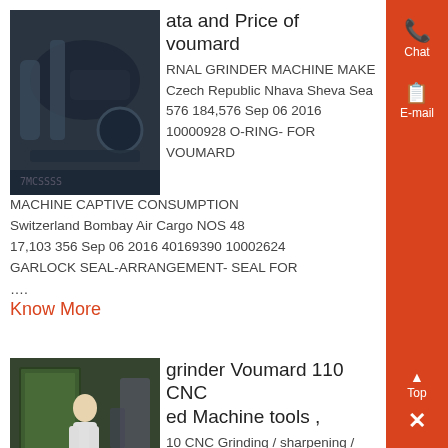ata and Price of voumard
[Figure (photo): Industrial machine/grinder equipment photo, dark metallic pipes and machinery]
RNAL GRINDER MACHINE MAKE Czech Republic Nhava Sheva Sea 576 184,576 Sep 06 2016 10000928 O-RING- FOR VOUMARD MACHINE CAPTIVE CONSUMPTION Switzerland Bombay Air Cargo NOS 48 17,103 356 Sep 06 2016 40169390 10002624 GARLOCK SEAL-ARRANGEMENT- SEAL FOR
....
Know More
grinder Voumard 110 CNC ed Machine tools ,
[Figure (photo): Person standing near green industrial machine/grinder]
10 CNC Grinding / sharpening / eburring / polishing Internal